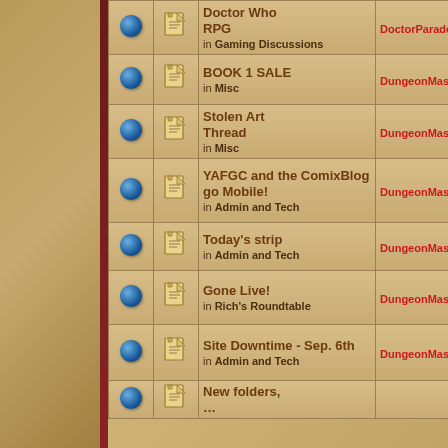|  |  | Topic | Author | Replies |
| --- | --- | --- | --- | --- |
| ● | 📄 | Doctor Who RPG
in Gaming Discussions | DoctorParadox | 0 |
| ● | 📄 | BOOK 1 SALE
in Misc | DungeonMaster | 0 |
| ● | 📄 | Stolen Art Thread
in Misc | DungeonMaster | 0 |
| ● | 📄 | YAFGC and the ComixBlog go Mobile!
in Admin and Tech | DungeonMaster | 0 |
| ● | 📄 | Today's strip
in Admin and Tech | DungeonMaster | 0 |
| ● | 📄 | Gone Live!
in Rich's Roundtable | DungeonMaster | 0 |
| ● | 📄 | Site Downtime - Sep. 6th
in Admin and Tech | DungeonMaster | 0 |
| ● | 📄 | New folders, … |  |  |